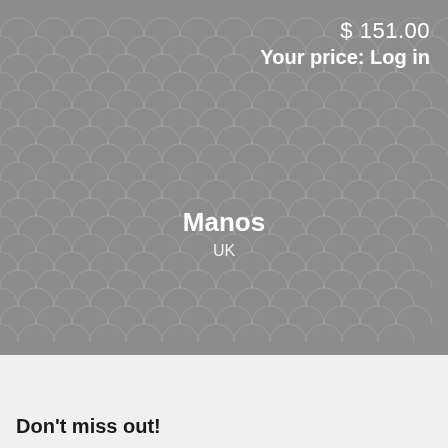[Figure (screenshot): Hotel or accommodation listing card with a grey seigaiha (fish scale) patterned background image placeholder]
$ 151.00
Your price: Log in
Manos
UK
Don't miss out!